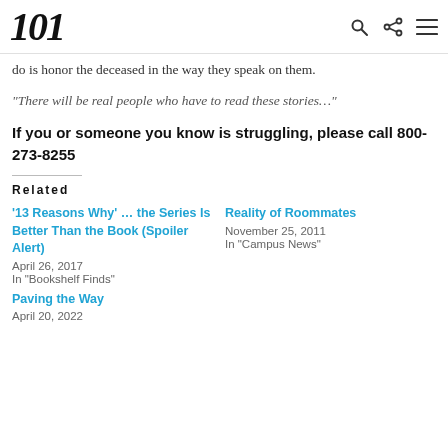101
do is honor the deceased in the way they speak on them.
“There will be real people who have to read these stories…”
If you or someone you know is struggling, please call 800-273-8255
Related
‘13 Reasons Why’ … the Series Is Better Than the Book (Spoiler Alert)
April 26, 2017
In “Bookshelf Finds”
Reality of Roommates
November 25, 2011
In “Campus News”
Paving the Way
April 20, 2022